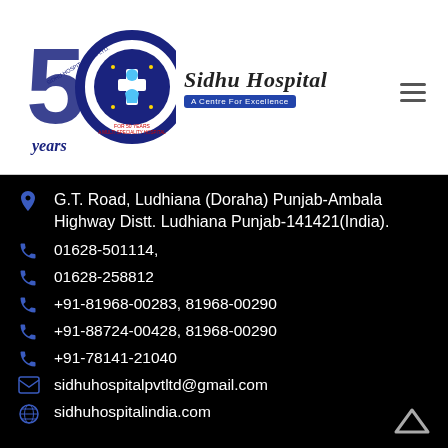[Figure (logo): Sidhu Hospital 50 Years logo with circular emblem and hospital name]
G.T. Road, Ludhiana (Doraha) Punjab-Ambala Highway Distt. Ludhiana Punjab-141421(India).
01628-501114,
01628-258812
+91-81968-00283, 81968-00290
+91-88724-00428, 81968-00290
+91-78141-21040
sidhuhospitalpvtltd@gmail.com
sidhuhospitalindia.com